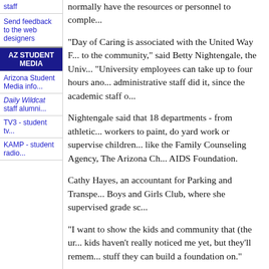staff
Send feedback to the web designers
AZ STUDENT MEDIA
Arizona Student Media info...
Daily Wildcat staff alumni...
TV3 - student tv...
KAMP - student radio...
normally have the resources or personnel to comple...
"Day of Caring is associated with the United Way F... to the community," said Betty Nightengale, the Univ... "University employees can take up to four hours ano... administrative staff did it, since the academic staff o...
Nightengale said that 18 departments - from athletic... workers to paint, do yard work or supervise children... like the Family Counseling Agency, The Arizona Ch... AIDS Foundation.
Cathy Hayes, an accountant for Parking and Transpe... Boys and Girls Club, where she supervised grade sc...
"I want to show the kids and community that (the ur... kids haven't really noticed me yet, but they'll remem... stuff they can build a foundation on."
The crumbled foundations of the World Trade Cente... fellow volunteer Mike Delahanty, operations manag...
"I organized a game of bingo for them," Delahanty s... had happened. They were feeling me out, trying to o...
The children weren't the only ones thinking of the o...